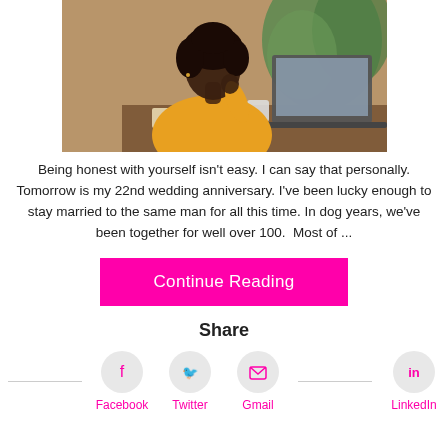[Figure (photo): Woman in yellow sweater sitting at a desk with a laptop, thinking with hand on chin, greenery in background]
Being honest with yourself isn't easy. I can say that personally. Tomorrow is my 22nd wedding anniversary. I've been lucky enough to stay married to the same man for all this time. In dog years, we've been together for well over 100.  Most of ...
Continue Reading
Share
Facebook
Twitter
Gmail
LinkedIn